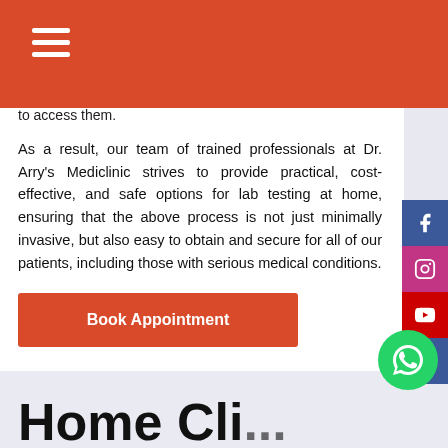to access them.
As a result, our team of trained professionals at Dr. Arry's Mediclinic strives to provide practical, cost-effective, and safe options for lab testing at home, ensuring that the above process is not just minimally invasive, but also easy to obtain and secure for all of our patients, including those with serious medical conditions.
Book Appointment
Home Cli...